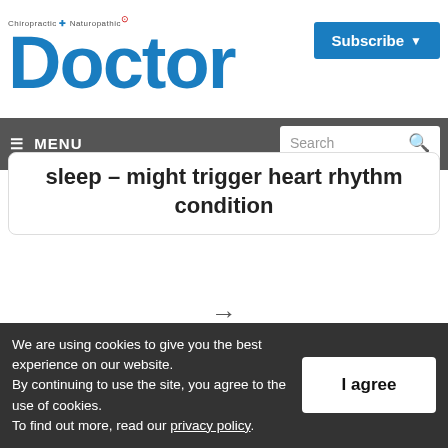Chiropractic + Naturopathic Doctor
[Figure (logo): Chiropractic + Naturopathic Doctor logo with large blue 'Doctor' text]
Subscribe ▾
≡ MENU  Search
sleep – might trigger heart rhythm condition
→
[Figure (logo): Chiropractic + Naturopathic Doctor logo repeated, partial view]
We are using cookies to give you the best experience on our website. By continuing to use the site, you agree to the use of cookies. To find out more, read our privacy policy.
I agree